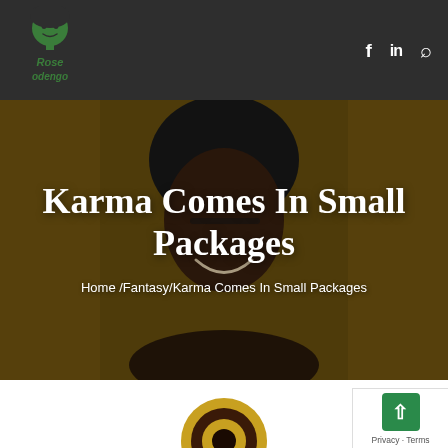[Figure (logo): Rose Odengo blog logo — illustrated portrait with green text]
f  in  🔍
[Figure (photo): Hero banner: smiling person with glasses and natural hair against a golden/dark amber background, overlaid with page title text]
Karma Comes In Small Packages
Home /Fantasy/Karma Comes In Small Packages
[Figure (logo): Partial circular logo visible at bottom center of page]
Privacy · Terms